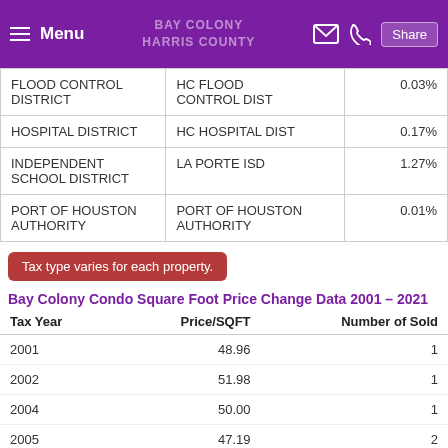Menu | HARRIS COUNTY | Share
|  |  |  |
| --- | --- | --- |
| FLOOD CONTROL DISTRICT | HC FLOOD CONTROL DIST | 0.03% |
| HOSPITAL DISTRICT | HC HOSPITAL DIST | 0.17% |
| INDEPENDENT SCHOOL DISTRICT | LA PORTE ISD | 1.27% |
| PORT OF HOUSTON AUTHORITY | PORT OF HOUSTON AUTHORITY | 0.01% |
Tax type varies for each property.
Bay Colony Condo Square Foot Price Change Data 2001 - 2021
| Tax Year | Price/SQFT | Number of Sold |
| --- | --- | --- |
| 2001 | 48.96 | 1 |
| 2002 | 51.98 | 1 |
| 2004 | 50.00 | 1 |
| 2005 | 47.19 | 2 |